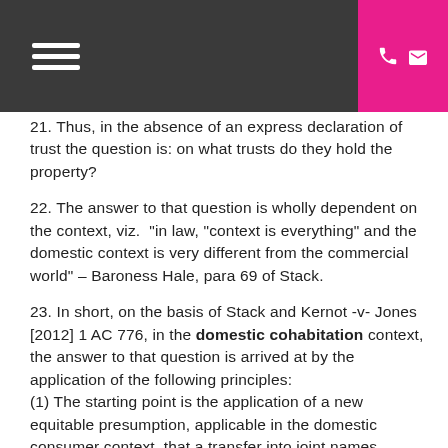Navigation header with hamburger menu and contact icons
21. Thus, in the absence of an express declaration of trust the question is: on what trusts do they hold the property?
22. The answer to that question is wholly dependent on the context, viz. "in law, "context is everything" and the domestic context is very different from the commercial world" – Baroness Hale, para 69 of Stack.
23. In short, on the basis of Stack and Kernot -v- Jones [2012] 1 AC 776, in the domestic cohabitation context, the answer to that question is arrived at by the application of the following principles:
(1) The starting point is the application of a new equitable presumption, applicable in the domestic consumer context, that a transfer into joint names indicates both legal and beneficial joint tenancy;

(2) That presumption can be displaced (said to be a "heavy